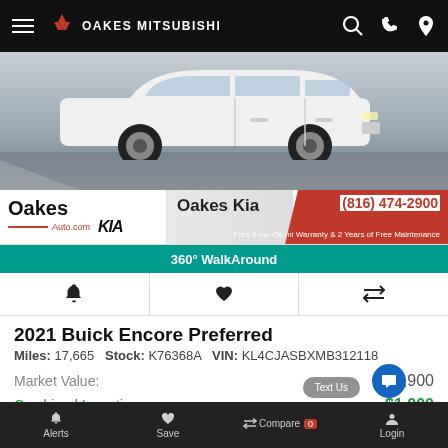OAKES MITSUBISHI
[Figure (photo): Front/side view of a white 2021 Buick Encore Preferred SUV photographed outdoors on pavement]
[Figure (logo): Oakes Auto.com Kia advertisement banner with phone number (816) 474-2900 and Free 6 mo /6k mi Warranty & 2 Years of Free Maintenance]
360° WalkAround
2021 Buick Encore Preferred
Miles: 17,665   Stock: K76368A   VIN: KL4CJASBXMB312118
Market Value: $26,900
Combined Incentives $1,000
Sales Price: $25,900
Alerts   Save   Compare 0   Login